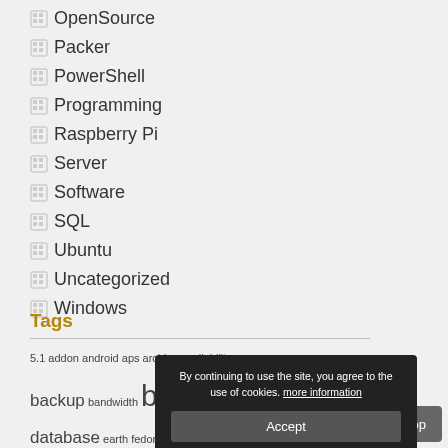OpenSource
Packer
PowerShell
Programming
Raspberry Pi
Server
Software
SQL
Ubuntu
Uncategorized
Windows
Tags
5.1 addon android aps archive availability groups backup bandwidth bash command line database earth fedora firefox gconf gconftool gnome google earth login microsoft mobile mount Ms nodoka powershell Programming pulseaudio script security server pulseaudio
By continuing to use the site, you agree to the use of cookies. more information
Accept
Top